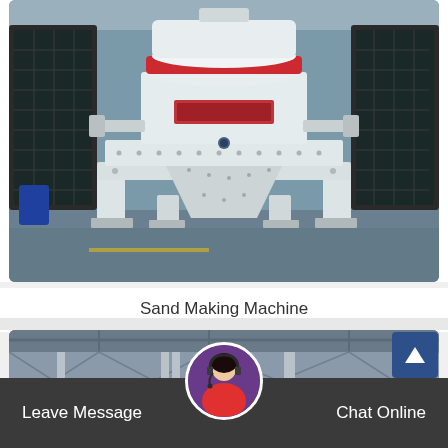[Figure (photo): Photograph of a large white industrial sand making machine (vertical shaft impact crusher) inside a factory/warehouse, showing the machine front-on with its cylindrical top section with a red rim, support frame, and hopper at the bottom. Dark mesh panels visible on both sides.]
Sand Making Machine
[Figure (photo): Partial photograph of another industrial machine inside a factory, showing white structural frame and conveyor/bin components with the factory ceiling and supports visible above.]
Leave Message
Chat Online